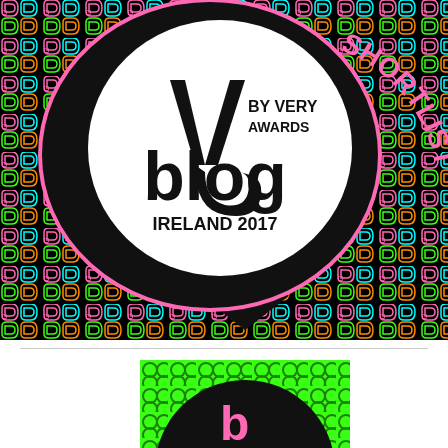[Figure (logo): Blog Awards Ireland 2017 by Very Awards shortlist badge. A black speech bubble shape containing a white circle with 'V blog BY VERY AWARDS IRELAND 2017' logo text and a stylized V icon. The word SHORTLIST curves along the right edge in pink. Background is a repeating colorful pattern of small speech bubble/D-letter shapes in pink, cyan, green, and orange on black.]
[Figure (logo): Partial second badge at bottom of page, showing the top portion of a similar black speech-bubble logo on a bright green repeating circle pattern background. Pink text partially visible at bottom.]